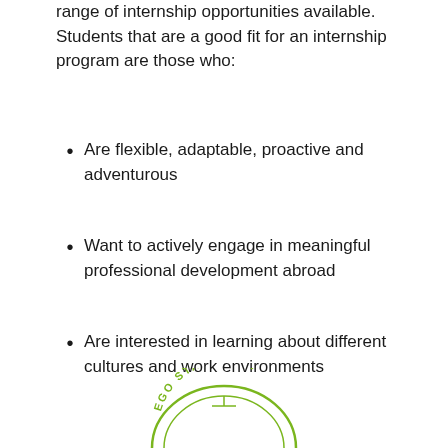range of internship opportunities available. Students that are a good fit for an internship program are those who:
Are flexible, adaptable, proactive and adventurous
Want to actively engage in meaningful professional development abroad
Are interested in learning about different cultures and work environments
[Figure (logo): San Diego State University seal/logo, partially visible at bottom of page, green circular design]